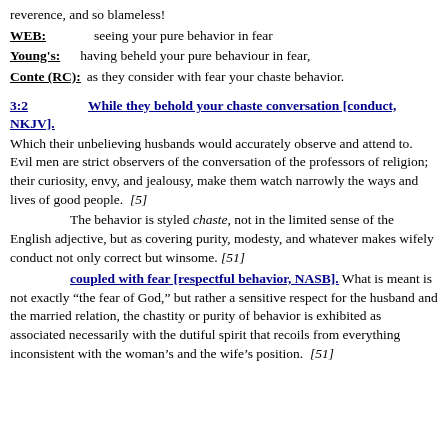reverence, and so blameless!
WEB: seeing your pure behavior in fear
Young's: having beheld your pure behaviour in fear,
Conte (RC): as they consider with fear your chaste behavior.
3:2   While they behold your chaste conversation [conduct, NKJV].
Which their unbelieving husbands would accurately observe and attend to. Evil men are strict observers of the conversation of the professors of religion; their curiosity, envy, and jealousy, make them watch narrowly the ways and lives of good people. [5]
The behavior is styled chaste, not in the limited sense of the English adjective, but as covering purity, modesty, and whatever makes wifely conduct not only correct but winsome. [51]
coupled with fear [respectful behavior, NASB]. What is meant is not exactly “the fear of God,” but rather a sensitive respect for the husband and the married relation, the chastity or purity of behavior is exhibited as associated necessarily with the dutiful spirit that recoils from everything inconsistent with the woman’s and the wife’s position. [51]